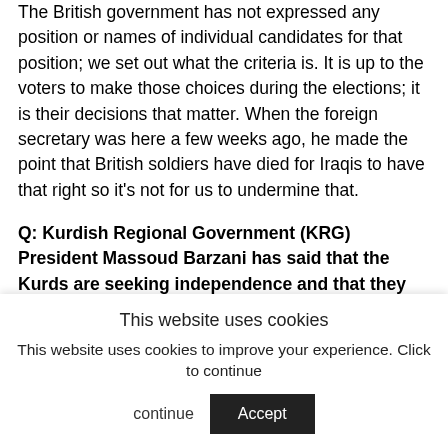The British government has not expressed any position or names of individual candidates for that position; we set out what the criteria is. It is up to the voters to make those choices during the elections; it is their decisions that matter. When the foreign secretary was here a few weeks ago, he made the point that British soldiers have died for Iraqis to have that right so it's not for us to undermine that.
Q: Kurdish Regional Government (KRG) President Massoud Barzani has said that the Kurds are seeking independence and that they have started a referendum process. Do you support this process?
We will... [partial, faded text]
This website uses cookies
This website uses cookies to improve your experience. Click to continue  Accept